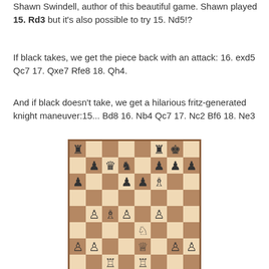Shawn Swindell, author of this beautiful game. Shawn played 15. Rd3 but it's also possible to try 15. Nd5!?
If black takes, we get the piece back with an attack: 16. exd5 Qc7 17. Qxe7 Rfe8 18. Qh4.
And if black doesn't take, we get a hilarious fritz-generated knight maneuver:15... Bd8 16. Nb4 Qc7 17. Nc2 Bf6 18. Ne3
[Figure (other): Chess board diagram showing a mid-game position with various black and white pieces including rooks, queens, knights, bishops, and pawns.]